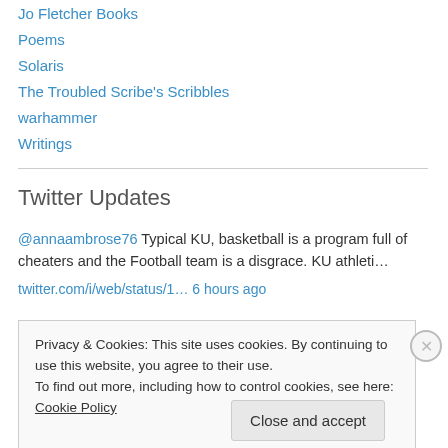Jo Fletcher Books
Poems
Solaris
The Troubled Scribe's Scribbles
warhammer
Writings
Twitter Updates
@annaambrose76 Typical KU, basketball is a program full of cheaters and the Football team is a disgrace. KU athleti… twitter.com/i/web/status/1… 6 hours ago
Privacy & Cookies: This site uses cookies. By continuing to use this website, you agree to their use. To find out more, including how to control cookies, see here: Cookie Policy